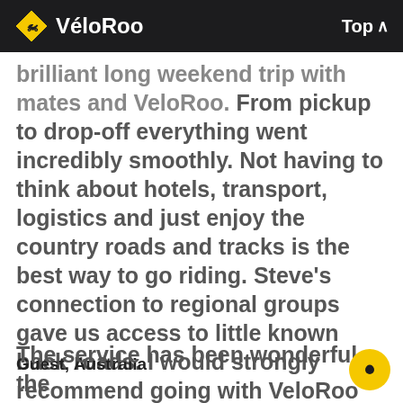VéloRoo  Top
brilliant long weekend trip with mates and VeloRoo. From pickup to drop-off everything went incredibly smoothly. Not having to think about hotels, transport, logistics and just enjoy the country roads and tracks is the best way to go riding. Steve's connection to regional groups gave us access to little known back roads. I would strongly recommend going with VeloRoo
Guest, Australia
The service has been wonderful, the